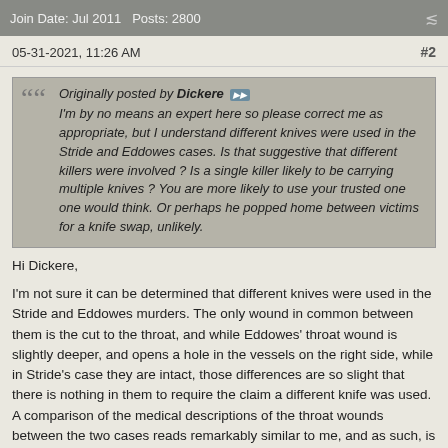Join Date: Jul 2011   Posts: 2800
05-31-2021, 11:26 AM   #2
Originally posted by Dickere
I'm by no means an expert here so please correct me as appropriate, but I understand different knives were used in the Stride and Eddowes cases. Is that suggestive that different killers were involved ? Is a single killer likely to be carrying multiple knives ? You are more likely to use your trusted one one would think. Or perhaps he popped home between victims for a knife swap, unlikely.
Hi Dickere,

I'm not sure it can be determined that different knives were used in the Stride and Eddowes murders. The only wound in common between them is the cut to the throat, and while Eddowes' throat wound is slightly deeper, and opens a hole in the vessels on the right side, while in Stride's case they are intact, those differences are so slight that there is nothing in them to require the claim a different knife was used. A comparison of the medical descriptions of the throat wounds between the two cases reads remarkably similar to me, and as such, is one of the reasons why I cannot make up my mind about Stride's inclusion as a victim of JtR. There are many things different about her case, most apparent the lack of mutilation, that would tend to suggest she is not part of the series. But, to me, the similarity of her injury to that inflicted only shortly later on Eddowes, ties them together. As such